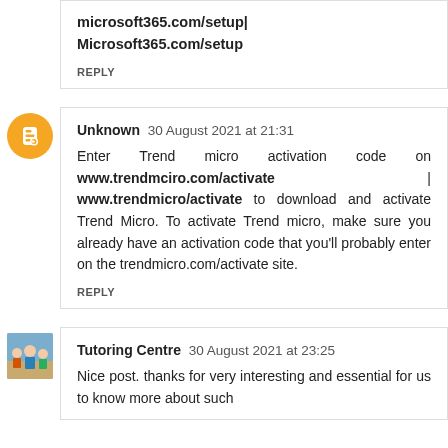microsoft365.com/setup|
Microsoft365.com/setup
REPLY
Unknown 30 August 2021 at 21:31
Enter Trend micro activation code on www.trendmciro.com/activate | www.trendmicro/activate to download and activate Trend Micro. To activate Trend micro, make sure you already have an activation code that you'll probably enter on the trendmicro.com/activate site.
REPLY
Tutoring Centre 30 August 2021 at 23:25
Nice post. thanks for very interesting and essential for us to know more about such